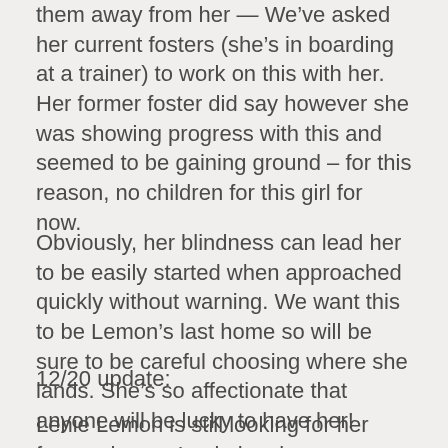them away from her — We've asked her current fosters (she's in boarding at a trainer) to work on this with her. Her former foster did say however she was showing progress with this and seemed to be gaining ground – for this reason, no children for this girl for now.
Obviously, her blindness can lead her to be easily started when approached quickly without warning. We want this to be Lemon's last home so will be sure to be careful choosing where she lands. She's so affectionate that anyone will be lucky to have her!
12/20 update:
Lenie Lemon is still looking for her forever home. Lenie has become comfortable with one of our